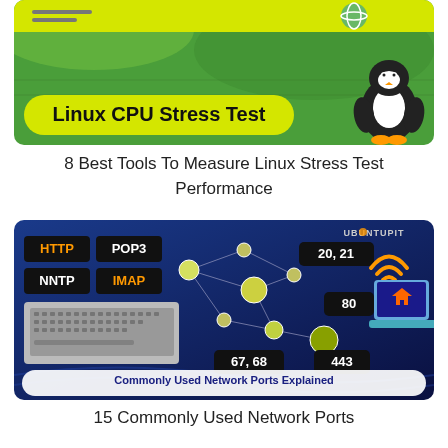[Figure (illustration): Linux CPU Stress Test thumbnail: green background with yellow pill-shaped banner reading 'Linux CPU Stress Test' and Tux the Linux penguin on the right side]
8 Best Tools To Measure Linux Stress Test Performance
[Figure (infographic): Network ports infographic on dark blue background showing HTTP, POP3, NNTP, IMAP protocol labels connected with network nodes; port numbers 20,21 / 80 / 67,68 / 443 displayed; white pill-shaped banner at bottom reading 'Commonly Used Network Ports Explained'; UBUNTUPIT branding top right]
15 Commonly Used Network Ports